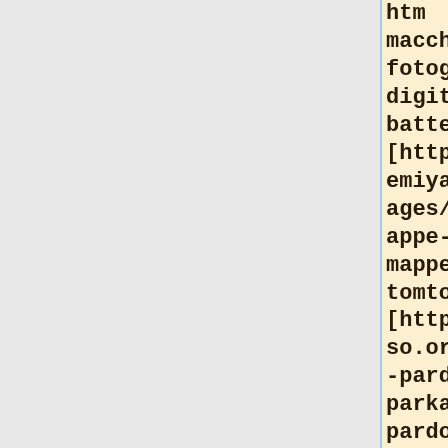htm macchine fotografiche digitale batteria] [http://psisemiya.com/images/small/mappe-tomtom/ mappe tomtom] [http://saibso.org/parka-pardoux.htm parka pardoux] [http://chaba.info/aladdin-dvd/ aladdin dvd 4] [http://kinu